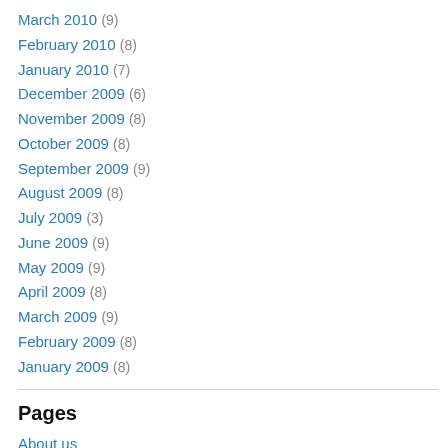March 2010 (9)
February 2010 (8)
January 2010 (7)
December 2009 (6)
November 2009 (8)
October 2009 (8)
September 2009 (9)
August 2009 (8)
July 2009 (3)
June 2009 (9)
May 2009 (9)
April 2009 (8)
March 2009 (9)
February 2009 (8)
January 2009 (8)
Pages
About us